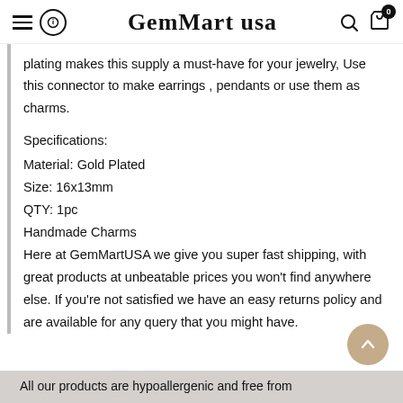GemMart USA
plating makes this supply a must-have for your jewelry, Use this connector to make earrings , pendants or use them as charms.
Specifications:
Material: Gold Plated
Size: 16x13mm
QTY: 1pc
Handmade Charms
Here at GemMartUSA we give you super fast shipping, with great products at unbeatable prices you won't find anywhere else. If you're not satisfied we have an easy returns policy and are available for any query that you might have.
All our products are hypoallergenic and free from